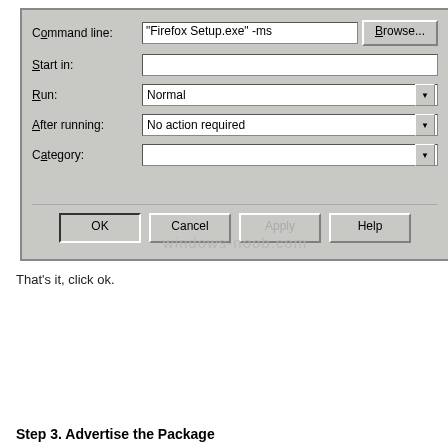[Figure (screenshot): Windows dialog box showing program properties with fields: Command line ("Firefox Setup.exe" -ms), Start in (empty), Run (Normal dropdown), After running (No action required dropdown), Category (empty dropdown). Bottom buttons: OK, Cancel, Apply (greyed), Help. Watermark 'windows-noob.com' overlay.]
That's it, click ok.
Step 3. Advertise the Package